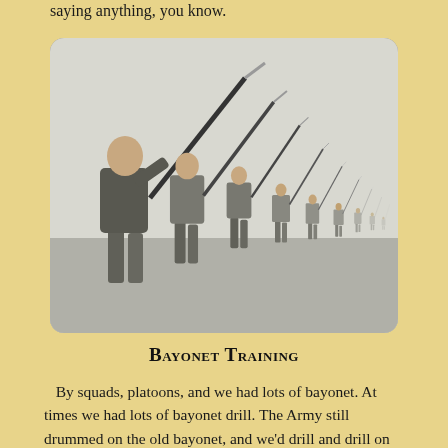saying anything, you know.
[Figure (photo): Black and white photograph of a line of soldiers performing bayonet training, thrusting rifles with bayonets forward diagonally, receding into the distance in perspective.]
Bayonet Training
By squads, platoons, and we had lots of bayonet. At times we had lots of bayonet drill. The Army still drummed on the old bayonet, and we'd drill and drill on the bayonets. How to stab it down in. Like a